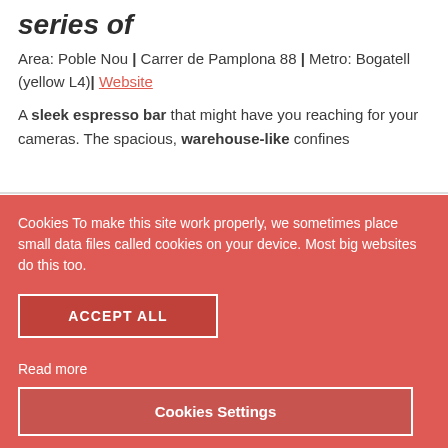...series of
Area: Poble Nou | Carrer de Pamplona 88 | Metro: Bogatell (yellow L4)| Website
A sleek espresso bar that might have you reaching for your cameras. The spacious, warehouse-like confines
Cookies To make this site work properly, we sometimes place small data files called cookies on your device. Most big websites do this too.
ACCEPT ALL
Read more
Cookies Settings